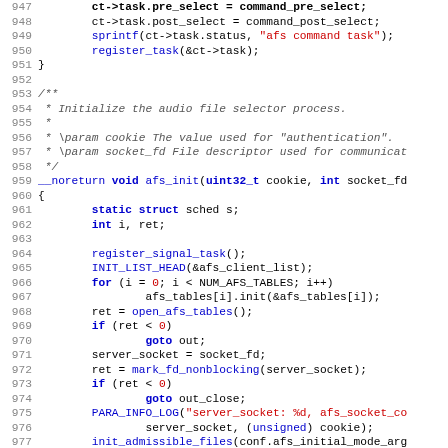[Figure (screenshot): Source code listing in C, lines 947-979, showing audio file selector initialization function afs_init with blue keywords, red string literals and numeric literals, monospace font on white background]